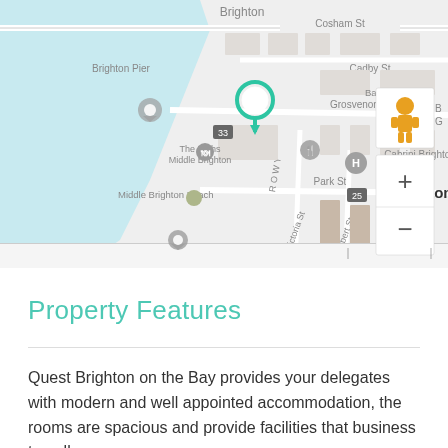[Figure (map): Google Maps screenshot showing Brighton area near Melbourne, Australia. Shows Middle Brighton Beach, The Baths Middle Brighton, Cabrini Brighton hospital, Park St, Grosvenor St, Victoria St, Albert St, Sussex St. A green location pin marker is shown on Grosvenor St. Street view person icon and zoom +/- controls visible. Map data ©2022. Google logo visible.]
Property Features
Quest Brighton on the Bay provides your delegates with modern and well appointed accommodation, the rooms are spacious and provide facilities that business travellers